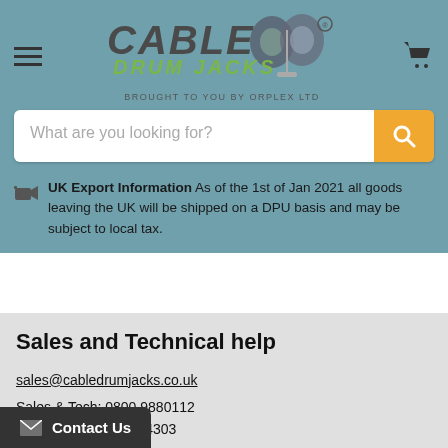[Figure (logo): Cable Drum Jacks logo with cable drum imagery and text 'BROUGHT TO YOU BY ORPLEX LTD']
What are you looking for?
UK Export Information As of the 1st of Jan 2021 all goods leaving the UK will be shipped on a DPU basis and may be subject to local tax.
Sales and Technical help
sales@cabledrumjacks.co.uk
Sales & Tech: 0800 9880112
Accounts: 0161-383-4303
Contact Us